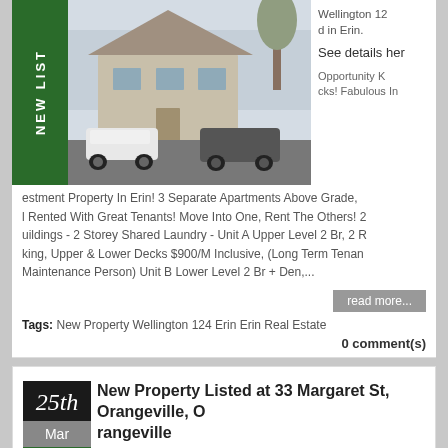[Figure (photo): Photo of a multi-unit residential property in Erin with cars parked in driveway, winter scene]
Wellington 12d in Erin.

See details here

Opportunity Knocks! Fabulous Investment Property In Erin! 3 Separate Apartments Above Grade, All Rented With Great Tenants! Move Into One, Rent The Others! 2 Buildings - 2 Storey Shared Laundry - Unit A Upper Level 2 Br, 2 R king, Upper & Lower Decks $900/M Inclusive, (Long Term Tenant, Maintenance Person) Unit B Lower Level 2 Br + Den,...
read more...
Tags: New Property Wellington 124 Erin Erin Real Estate
0 comment(s)
New Property Listed at 33 Margaret St, Orangeville, Orangeville
Posted by Diane Boyd on 03:45 AM
[Figure (photo): Photo of a property at 33 Margaret St, Orangeville with trees in foreground, winter scene]
I have listed a n